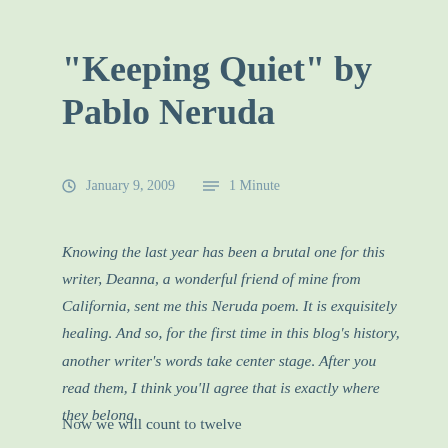"Keeping Quiet" by Pablo Neruda
January 9, 2009   1 Minute
Knowing the last year has been a brutal one for this writer, Deanna, a wonderful friend of mine from California, sent me this Neruda poem. It is exquisitely healing. And so, for the first time in this blog’s history, another writer’s words take center stage. After you read them, I think you’ll agree that is exactly where they belong.
Now we will count to twelve